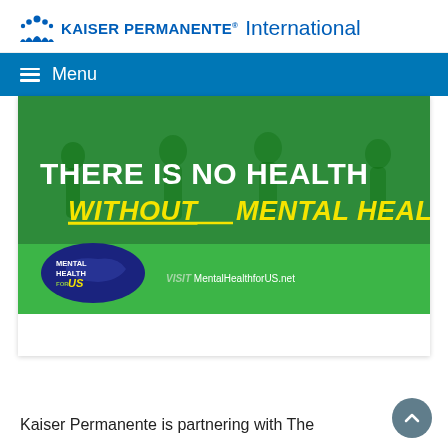KAISER PERMANENTE. International
≡ Menu
[Figure (infographic): Green banner with text 'THERE IS NO HEALTH WITHOUT MENTAL HEALTH' in white and yellow bold letters, with people running in background. Mental Health for US logo and 'VISIT MentalHealthforUS.net' text at bottom.]
Kaiser Permanente is partnering with The